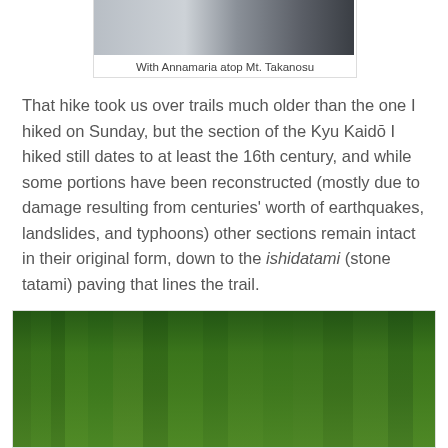[Figure (photo): Partial photo of two people at the top of Mt. Takanosu, cropped at top of page]
With Annamaria atop Mt. Takanosu
That hike took us over trails much older than the one I hiked on Sunday, but the section of the Kyu Kaidō I hiked still dates to at least the 16th century, and while some portions have been reconstructed (mostly due to damage resulting from centuries' worth of earthquakes, landslides, and typhoons) other sections remain intact in their original form, down to the ishidatami (stone tatami) paving that lines the trail.
[Figure (photo): Forest path with stone steps (ishidatami) lined with tall trees and lush green foliage on the Kyu Kaidō trail]